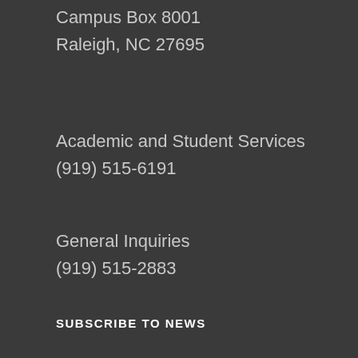Campus Box 8001
Raleigh, NC 27695
Academic and Student Services
(919) 515-6191
General Inquiries
(919) 515-2883
SUBSCRIBE TO NEWS
Email address
About CNR News   Accessibility